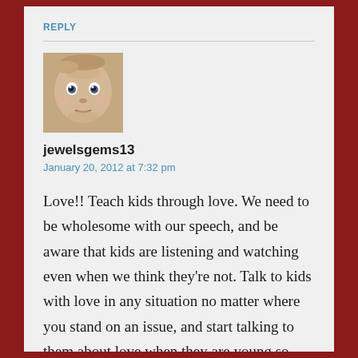REPLY
[Figure (photo): Avatar photo of a baby with wide eyes looking at the camera]
jewelsgems13
January 20, 2012 at 7:32 pm
Love!! Teach kids through love. We need to be wholesome with our speech, and be aware that kids are listening and watching even when we think they're not. Talk to kids with love in any situation no matter where you stand on an issue, and start talking to them about love when they are young so they grow up loving people. We